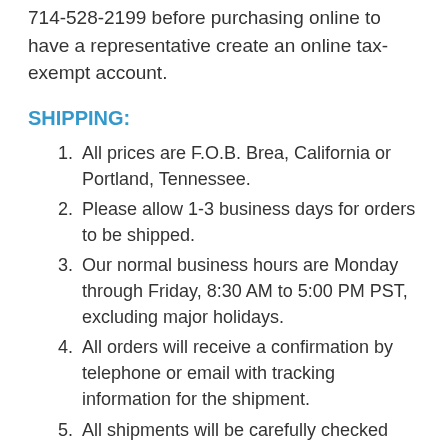714-528-2199 before purchasing online to have a representative create an online tax-exempt account.
SHIPPING:
All prices are F.O.B. Brea, California or Portland, Tennessee.
Please allow 1-3 business days for orders to be shipped.
Our normal business hours are Monday through Friday, 8:30 AM to 5:00 PM PST, excluding major holidays.
All orders will receive a confirmation by telephone or email with tracking information for the shipment.
All shipments will be carefully checked prior to delivery. Any incorrect shipment, shipping